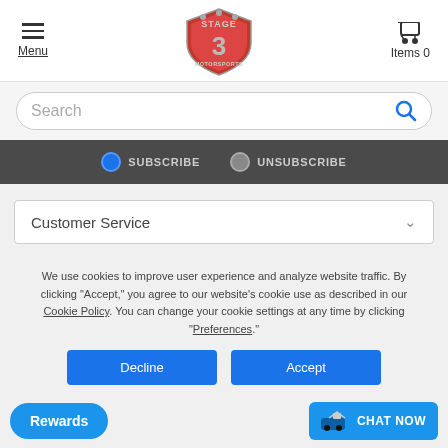[Figure (logo): Stage 3 Motorsports logo — shield shape with red background and grey text]
Menu
Items 0
Search
SUBSCRIBE   UNSUBSCRIBE
Customer Service
We use cookies to improve user experience and analyze website traffic. By clicking "Accept," you agree to our website's cookie use as described in our Cookie Policy. You can change your cookie settings at any time by clicking "Preferences."
Decline
Accept
Preferences
Rewards
CHAT NOW